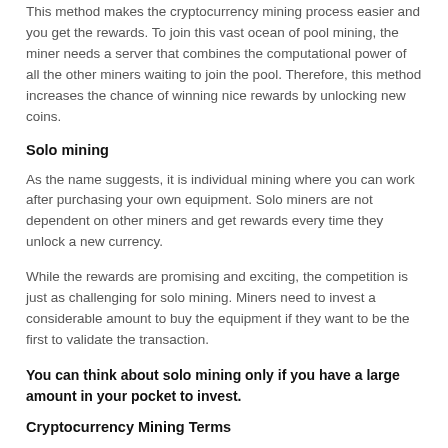This method makes the cryptocurrency mining process easier and you get the rewards. To join this vast ocean of pool mining, the miner needs a server that combines the computational power of all the other miners waiting to join the pool. Therefore, this method increases the chance of winning nice rewards by unlocking new coins.
Solo mining
As the name suggests, it is individual mining where you can work after purchasing your own equipment. Solo miners are not dependent on other miners and get rewards every time they unlock a new currency.
While the rewards are promising and exciting, the competition is just as challenging for solo mining. Miners need to invest a considerable amount to buy the equipment if they want to be the first to validate the transaction.
You can think about solo mining only if you have a large amount in your pocket to invest.
Cryptocurrency Mining Terms